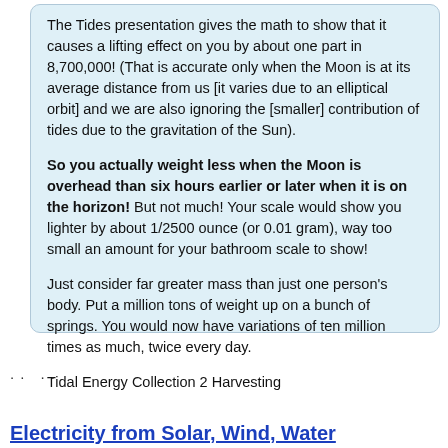The Tides presentation gives the math to show that it causes a lifting effect on you by about one part in 8,700,000! (That is accurate only when the Moon is at its average distance from us [it varies due to an elliptical orbit] and we are also ignoring the [smaller] contribution of tides due to the gravitation of the Sun).
So you actually weight less when the Moon is overhead than six hours earlier or later when it is on the horizon! But not much! Your scale would show you lighter by about 1/2500 ounce (or 0.01 gram), way too small an amount for your bathroom scale to show!
Just consider far greater mass than just one person's body. Put a million tons of weight up on a bunch of springs. You would now have variations of ten million times as much, twice every day.
Tidal Energy Collection 2 Harvesting
.. ..
Electricity from Solar, Wind, Water